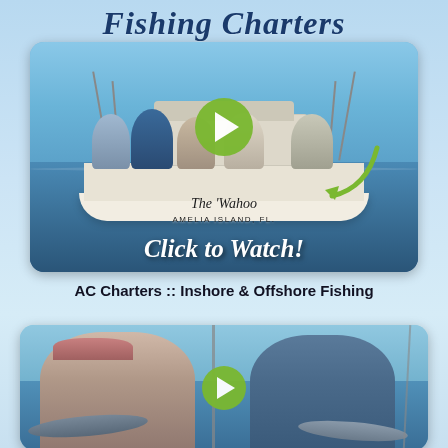Fishing Charters
[Figure (photo): Video thumbnail showing a group of people on a fishing boat named 'The Wahoo' from Amelia Island, FL, holding caught fish. A green play button is visible in the center with a green arrow pointing to it, and 'Click to Watch!' text overlaid at the bottom.]
AC Charters :: Inshore & Offshore Fishing
[Figure (photo): Video thumbnail showing two people holding a large shark/fish on a fishing boat, with a green play button overlay in the center.]